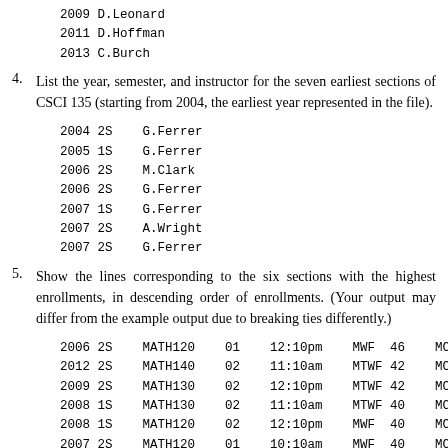2009 D.Leonard
2011 D.Hoffman
2013 C.Burch
4. List the year, semester, and instructor for the seven earliest sections of CSCI 135 (starting from 2004, the earliest year represented in the file).
2004 2S    G.Ferrer
2005 1S    G.Ferrer
2006 2S    M.Clark
2006 2S    G.Ferrer
2007 1S    G.Ferrer
2007 2S    A.Wright
2007 2S    G.Ferrer
5. Show the lines corresponding to the six sections with the highest enrollments, in descending order of enrollments. (Your output may differ from the example output due to breaking ties differently.)
2006 2S    MATH120    01    12:10pm    MWF  46    MCAcx1
2012 2S    MATH140    02    11:10am    MTWF 42    MCRey1
2009 2S    MATH130    02    12:10pm    MTWF 42    MCRey1
2008 1S    MATH130    02    11:10am    MTWF 40    MCRey1
2008 1S    MATH120    02    12:10pm    MWF  40    MCRey1
2007 2S    MATH120    01    10:10am    MWF  40    MCRey1
6. List the number of sections of MATH 130 and...